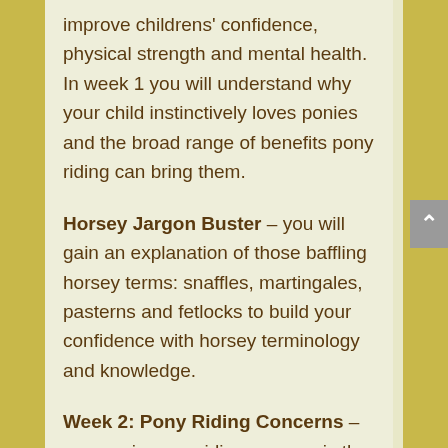improve childrens' confidence, physical strength and mental health. In week 1 you will understand why your child instinctively loves ponies and the broad range of benefits pony riding can bring them.
Horsey Jargon Buster – you will gain an explanation of those baffling horsey terms: snaffles, martingales, pasterns and fetlocks to build your confidence with horsey terminology and knowledge.
Week 2: Pony Riding Concerns – your main pony riding concern is the costs.  In week 2 you will learn the different ways to